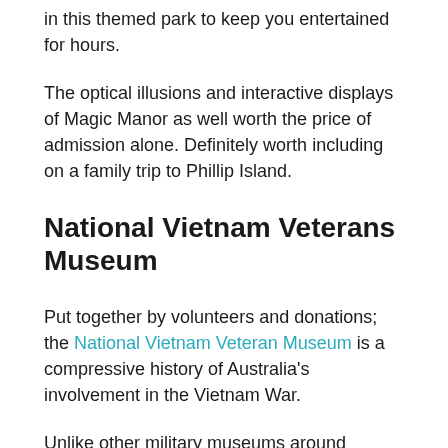in this themed park to keep you entertained for hours.
The optical illusions and interactive displays of Magic Manor as well worth the price of admission alone. Definitely worth including on a family trip to Phillip Island.
National Vietnam Veterans Museum
Put together by volunteers and donations; the National Vietnam Veteran Museum is a compressive history of Australia's involvement in the Vietnam War.
Unlike other military museums around Australia, Phillip Islands' National Vietnam Veteran Museum has been set up to support and provide insight into the experience of veterans, specifically the conflict in Vietnam.
You'll learn quite a lot about the conflict as well as what it was like returning home for the veterans, while the museum also features an impressive collection of equipment that served